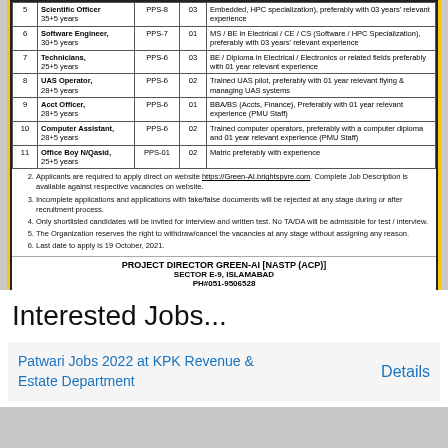| S.No | Post / Age Limit | BPS | Vac. | Qualification / Experience |
| --- | --- | --- | --- | --- |
| 5 | Scientific Officer
35+5 years | PPS-8 | 03 | Embedded, HPC specialization), preferably with 03 years' relevant experience |
| 6 | Software Engineer,
30+5 years | PPS-7 | 01 | MS / BE in Electrical / CE / CS (Software / HPC Specialization), preferably with 03 years' relevant experience |
| 7 | Technicians,
25+5 years | PPS-6 | 03 | BE / Diploma in Electrical / Electronics or related fields preferably with 01 year relevant experience |
| 8 | UAS Operator,
28+5 years | PPS-6 | 02 | Trained UAS pilot, preferably with 01 year relevant flying & managing UAS systems |
| 9 | Acct Officer,
28+5 years | PPS-6 | 01 | BBA/BS (Accts, Finance), Preferably with 01 year relevant experience (PMU Staff) |
| 10 | Computer Assistant,
28+5 years | PPS-6 | 02 | Trained computer operators, preferably with a computer diploma and 01 year relevant experience (PMU Staff) |
| 11 | Office Boy N/Qasid,
25+5 years | PPS-01 | 02 | Matric preferably with experience |
Applicants are required to apply direct on website https://Green-AI.brightspyre.com. Complete Job Description is available against respective vacancies on website.
Incomplete applications and applications with fake/false documents will be rejected at any stage during or after recruitment process.
Only shortlisted candidates will be invited for interview and written test. No TA/DA will be admissible for test / interview.
The Organization reserves the right to withdraw/cancel the vacancies at any stage without assigning any reason.
Last date to apply is 19 October, 2021.
PROJECT DIRECTOR GREEN-AI [NASTP (ACP)]
SECTOR E-9, ISLAMABAD
PH#051-9506528
PID (c) 2008/2021
Interested Jobs...
Patwari Jobs 2022 at KPK Revenue & Estate Department
Details